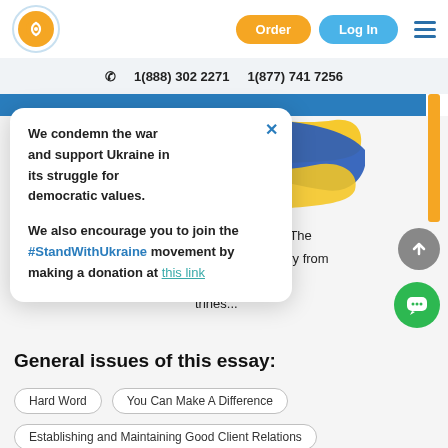[Figure (logo): Orange circular logo with white wifi/signal icon]
Order
Log In
1(888) 302 2271     1(877) 741 7256
[Figure (illustration): Ukraine flag ribbon illustration in blue and yellow]
We condemn the war and support Ukraine in its struggle for democratic values.

We also encourage you to join the #StandWithUkraine movement by making a donation at this link
es was to instill
izens of a state. The
his point in history from
al authority was
trines...
General issues of this essay:
Hard Word
You Can Make A Difference
Establishing and Maintaining Good Client Relations